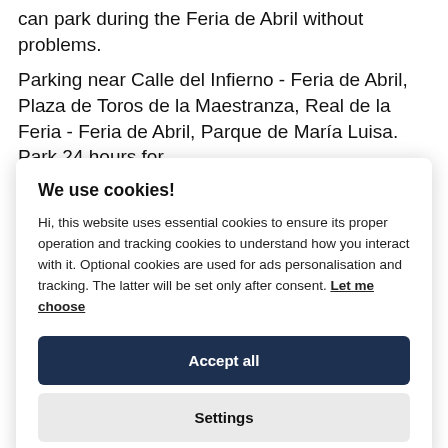can park during the Feria de Abril without problems.
Parking near Calle del Infierno - Feria de Abril, Plaza de Toros de la Maestranza, Real de la Feria - Feria de Abril, Parque de María Luisa. Park 24 hours for
We use cookies!
Hi, this website uses essential cookies to ensure its proper operation and tracking cookies to understand how you interact with it. Optional cookies are used for ads personalisation and tracking. The latter will be set only after consent. Let me choose
Accept all
Settings
Prices may vary by season.